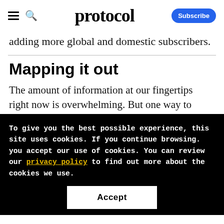protocol — Subscribe
adding more global and domestic subscribers.
Mapping it out
The amount of information at our fingertips right now is overwhelming. But one way to
To give you the best possible experience, this site uses cookies. If you continue browsing. you accept our use of cookies. You can review our privacy policy to find out more about the cookies we use.
Accept